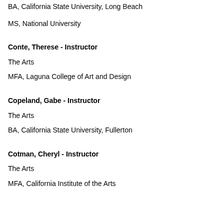BA, California State University, Long Beach
MS, National University
Conte, Therese - Instructor
The Arts
MFA, Laguna College of Art and Design
Copeland, Gabe - Instructor
The Arts
BA, California State University, Fullerton
Cotman, Cheryl - Instructor
The Arts
MFA, California Institute of the Arts